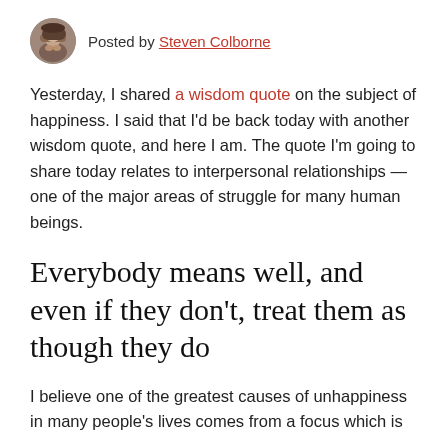Posted by Steven Colborne
Yesterday, I shared a wisdom quote on the subject of happiness. I said that I'd be back today with another wisdom quote, and here I am. The quote I'm going to share today relates to interpersonal relationships — one of the major areas of struggle for many human beings.
Everybody means well, and even if they don't, treat them as though they do
I believe one of the greatest causes of unhappiness in many people's lives comes from a focus which is